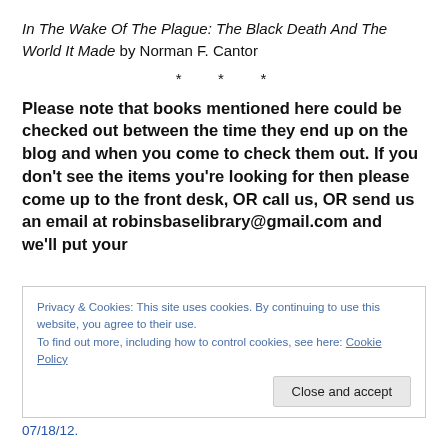In The Wake Of The Plague: The Black Death And The World It Made by Norman F. Cantor
* * *
Please note that books mentioned here could be checked out between the time they end up on the blog and when you come to check them out. If you don't see the items you're looking for then please come up to the front desk, OR call us, OR send us an email at robinsbaselibrary@gmail.com and  we'll put your
Privacy & Cookies: This site uses cookies. By continuing to use this website, you agree to their use.
To find out more, including how to control cookies, see here: Cookie Policy
07/18/12.